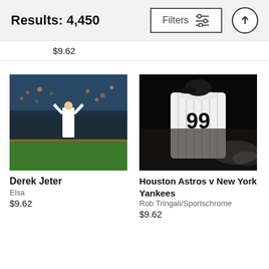Results: 4,450 | Filters
$9.62
[Figure (photo): Derek Jeter baseball player on field with crowd in background, color photo]
Derek Jeter
Elsa
$9.62
[Figure (photo): Houston Astros v New York Yankees player #99 seen from behind, black and white photo with stadium lights]
Houston Astros v New York Yankees
Rob Tringali/Sportschrome
$9.62